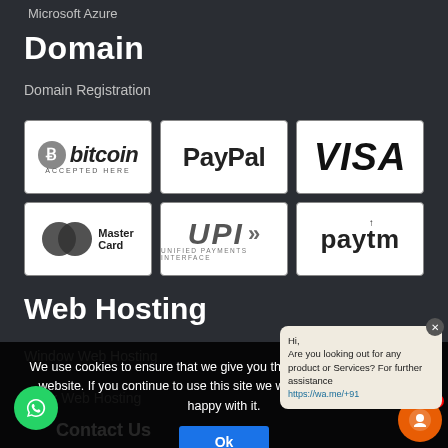Microsoft Azure
Domain
Domain Registration
[Figure (infographic): Payment method logos grid: Bitcoin Accepted Here, PayPal, VISA (row 1), MasterCard, UPI Unified Payments Interface, Paytm (row 2)]
Web Hosting
Window Web Hosting
Linux Web Hosting
Contact Us
We use cookies to ensure that we give you the best experience on our website. If you continue to use this site we will assume that you are happy with it.
Hi,
Are you looking out for any product or Services? For further assistance
https://wa.me/+91